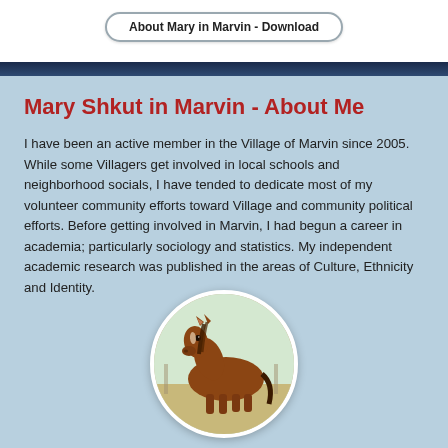About Mary in Marvin - Download
Mary Shkut in Marvin - About Me
I have been an active member in the Village of Marvin since 2005. While some Villagers get involved in local schools and neighborhood socials, I have tended to dedicate most of my volunteer community efforts toward Village and community political efforts. Before getting involved in Marvin, I had begun a career in academia; particularly sociology and statistics. My independent academic research was published in the areas of Culture, Ethnicity and Identity.
[Figure (photo): Circular photo of a brown horse looking to the left, outdoors with a fence and green trees in the background.]